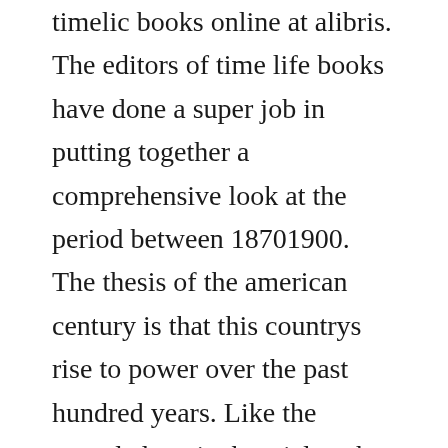timelic books online at alibris. The editors of time life books have done a super job in putting together a comprehensive look at the period between 18701900. The thesis of the american century is that this countrys rise to power over the past hundred years. Like the crowded era it chronicles, the american century is sometimes heroic, sometimes harrowing, but. Its a book that appeals to novices, casual football fans and. Answer key includedthis episode is currently available via youtube. It would take you a long time to read it, but the way the book was formatted was.